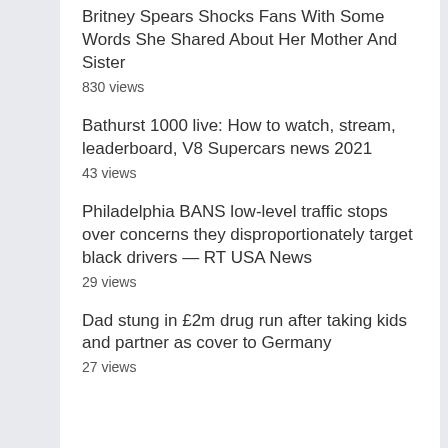Britney Spears Shocks Fans With Some Words She Shared About Her Mother And Sister
830 views
Bathurst 1000 live: How to watch, stream, leaderboard, V8 Supercars news 2021
43 views
Philadelphia BANS low-level traffic stops over concerns they disproportionately target black drivers — RT USA News
29 views
Dad stung in £2m drug run after taking kids and partner as cover to Germany
27 views